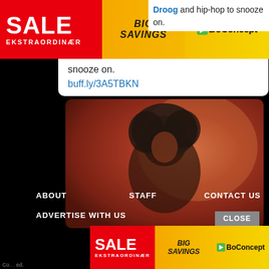[Figure (other): Top advertisement banner: red left section with SALE / EKSTRAORDINÆR, orange/gold middle with BIG SAVINGS italic, gold right with BoConcept logo]
Droog and hip-hop to snooze on.
buff.ly/3A5TBKN
[Figure (photo): Portrait photo of a person with afro hair against an orange/warm-toned background]
ABOUT
STAFF
CONTACT US
ADVERTISE WITH US
[Figure (other): Bottom advertisement banner with CLOSE button: red SALE / EKSTRAORDINÆR, italic BIG SAVINGS, BoConcept logo]
Co... ed.